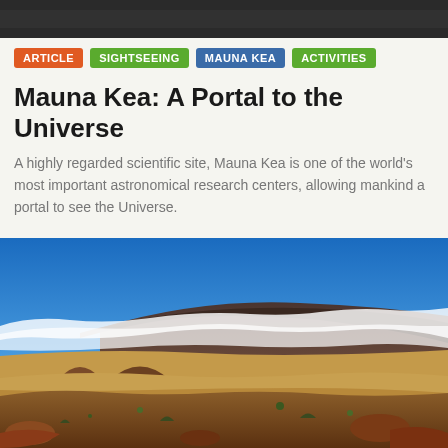[Figure (photo): Cropped top portion of a dark/shadowed photo at the top of the page]
ARTICLE
SIGHTSEEING
MAUNA KEA
ACTIVITIES
Mauna Kea: A Portal to the Universe
A highly regarded scientific site, Mauna Kea is one of the world's most important astronomical research centers, allowing mankind a portal to see the Universe.
[Figure (photo): Wide panoramic landscape photo of Mauna Kea showing volcanic terrain, cinder cones, sparse vegetation in the foreground, clouds on the horizon, and the broad dark volcanic summit of Mauna Kea in the background under a bright blue sky.]